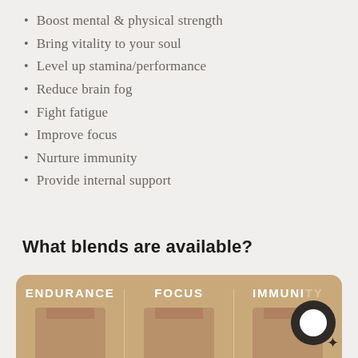Boost mental & physical strength
Bring vitality to your soul
Level up stamina/performance
Reduce brain fog
Fight fatigue
Improve focus
Nurture immunity
Provide internal support
What blends are available?
[Figure (photo): Three product bags labeled ENDURANCE, FOCUS, and IMMUNITY on a tan/brown rounded rectangle background]